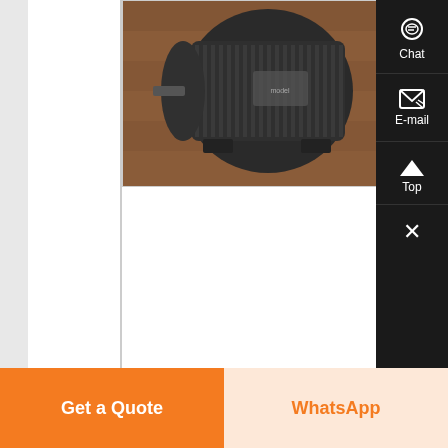[Figure (photo): Industrial electric motor on a wooden surface, dark colored with metal housing]
Roller vs Rose Quartz Whats the Difference
,
21-09-2020
0183 32 The Difference Between Jade Face Roller and Rose Quartz Roller While the design and function of our two popular